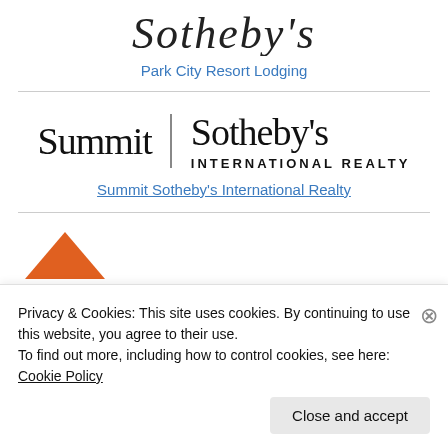[Figure (logo): Cursive/script style logo text at top of page, partially visible]
Park City Resort Lodging
[Figure (logo): Summit Sotheby's International Realty logo with vertical bar separator]
Summit Sotheby's International Realty
[Figure (logo): Orange mountain/triangle logo, partially visible]
Privacy & Cookies: This site uses cookies. By continuing to use this website, you agree to their use.
To find out more, including how to control cookies, see here: Cookie Policy
Close and accept